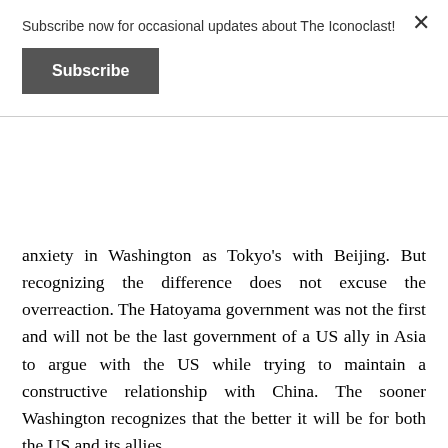Subscribe now for occasional updates about The Iconoclast!
Subscribe
anxiety in Washington as Tokyo’s with Beijing. But recognizing the difference does not excuse the overreaction. The Hatoyama government was not the first and will not be the last government of a US ally in Asia to argue with the US while trying to maintain a constructive relationship with China. The sooner Washington recognizes that the better it will be for both the US and its allies.
Meanwhile, this new agreement does not mean that the DPJ is abandoning its belief in a balanced, Asia-centered foreign policy in which the alliance is important but not all-consuming. “Resolving” Futenma